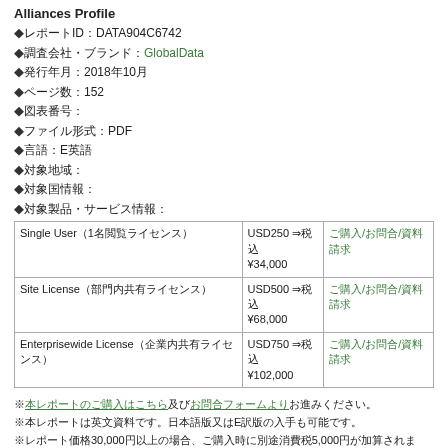Alliances Profile
◆レポートID：DATA904C6742
◆調査会社・ブランド：GlobalData
◆発行年月：2018年10月
◆ページ数：152
◆図表番号：
◆ファイル形式：PDF
◆言語：E英語
◆対象地域：
◆対象国情報：
◆対象製品・サービス情報：
|  | 価格 | 購入／お問合せ |
| --- | --- | --- |
| Single User（1名閲覧ライセンス） | USD250 ⇒税込¥34,000 | ご購入/お問合/資料請求 |
| Site License（部門内共有ライセンス） | USD500 ⇒税込¥68,000 | ご購入/お問合/資料請求 |
| Enterprisewide License（企業内共有ライセンス） | USD750 ⇒税込¥102,000 | ご購入/お問合/資料請求 |
※本レポートのご購入はこちら及びお問合フォームよりお進みください。
※本レポートは英文資料です。日本語版又はE訳版の入手も可能です。
※レポート価格30,000円以上の場合、ご購入時に別途消費税5,000円が加算されます。
※Enterprisewide Licenseについてはお問合わせ2回目以降についての対応。